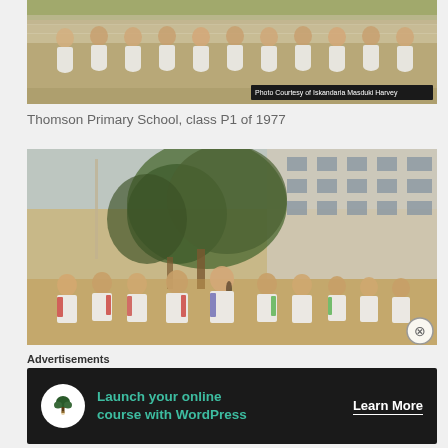[Figure (photo): Black and white / vintage photo of a group of school children in white uniforms sitting on steps, Thomson Primary School class photo 1977. Caption overlay reads 'Photo Courtesy of Iskandaria Masduki Harvey'.]
Thomson Primary School, class P1 of 1977
[Figure (photo): Vintage color photograph of school children in white uniforms with colored straps/bags standing outdoors in front of a multi-story school building with trees in background.]
Advertisements
[Figure (other): Advertisement banner: dark background with white circle icon containing a tree/person logo, teal text 'Launch your online course with WordPress', and white 'Learn More' button text.]